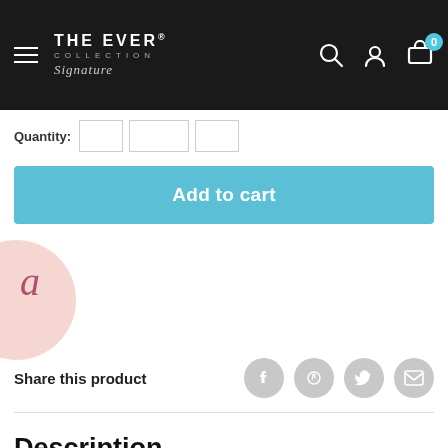THE EVER COLLECTION Signature — navigation bar with hamburger menu, logo, search, account, and cart icons
Quantity:
Add to cart
a
Share this product
Description
Silver Surfer Reflective Sun...
Chat with us